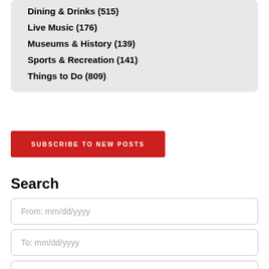Dining & Drinks (515)
Live Music (176)
Museums & History (139)
Sports & Recreation (141)
Things to Do (809)
SUBSCRIBE TO NEW POSTS
Search
From: mm/dd/yyyy
To: mm/dd/yyyy
Keyword